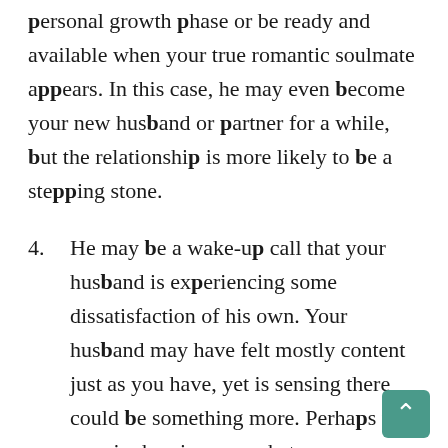personal growth phase or be ready and available when your true romantic soulmate appears. In this case, he may even become your new husband or partner for a while, but the relationship is more likely to be a stepping stone.
4. He may be a wake-up call that your husband is experiencing some dissatisfaction of his own. Your husband may have felt mostly content just as you have, yet is sensing there could be something more. Perhaps this man is showing you what your husband yearns for, how he longs to interact with you, and how he could be with a little different...